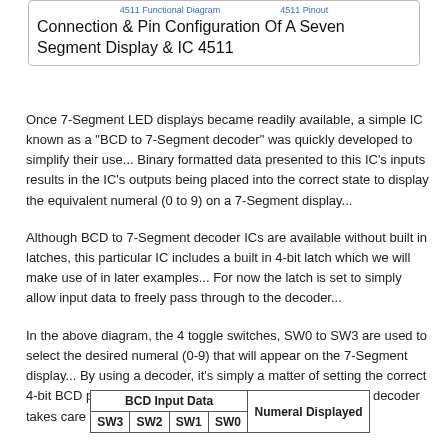4511 Functional Diagram    4511 Pinout
Connection & Pin Configuration Of A Seven Segment Display & IC 4511
Once 7-Segment LED displays became readily available, a simple IC known as a "BCD to 7-Segment decoder" was quickly developed to simplify their use... Binary formatted data presented to this IC's inputs results in the IC's outputs being placed into the correct state to display the equivalent numeral (0 to 9) on a 7-Segment display...
Although BCD to 7-Segment decoder ICs are available without built in latches, this particular IC includes a built in 4-bit latch which we will make use of in later examples... For now the latch is set to simply allow input data to freely pass through to the decoder...
In the above diagram, the 4 toggle switches, SW0 to SW3 are used to select the desired numeral (0-9) that will appear on the 7-Segment display... By using a decoder, it's simply a matter of setting the correct 4-bit BCD pattern feeding the inputs of the decoder, and the decoder takes care of the rest...
| BCD Input Data |  |  |  | Numeral Displayed |
| --- | --- | --- | --- | --- |
| SW3 | SW2 | SW1 | SW0 | Numeral Displayed |